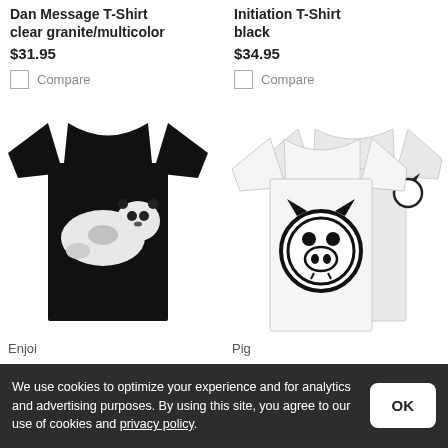Dan Message T-Shirt clear granite/multicolor
$31.95
Compare
Initiation T-Shirt black
$34.95
Compare
[Figure (photo): Black t-shirt with panda graphic on front (Enjoi brand)]
Enjoi
[Figure (photo): White t-shirt with pig face logo graphic, front and back view shown (Pig brand)]
Pig
We use cookies to optimize your experience and for analytics and advertising purposes. By using this site, you agree to our use of cookies and privacy policy.